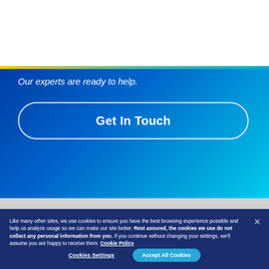[Figure (logo): Envista Forensics logo with checkmark V and FORENSICS tagline]
Our experts are ready to help.
Get In Touch
Like many other sites, we use cookies to ensure you have the best browsing experience possible and help us analyze usage so we can make our site better. Rest assured, the cookies we use do not collect any personal information from you. If you continue without changing your settings, we'll assume you are happy to receive them. Cookie Policy
Cookies Settings
Accept All Cookies